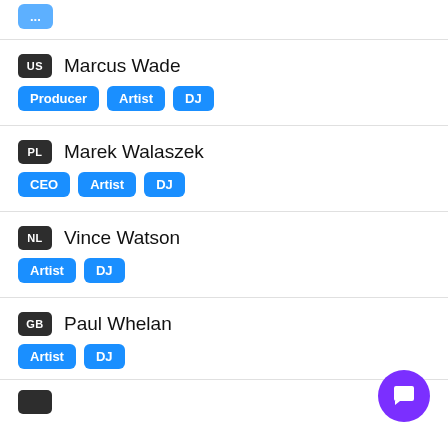US Marcus Wade — Producer, Artist, DJ
PL Marek Walaszek — CEO, Artist, DJ
NL Vince Watson — Artist, DJ
GB Paul Whelan — Artist, DJ
partial entry at bottom